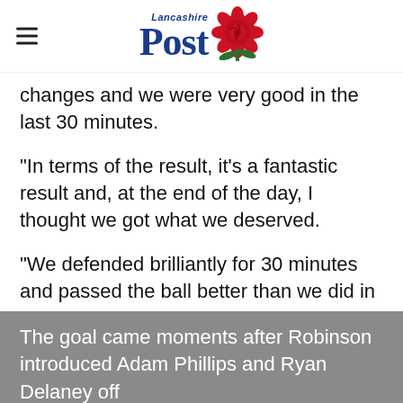Lancashire Post
changes and we were very good in the last 30 minutes.
“In terms of the result, it’s a fantastic result and, at the end of the day, I thought we got what we deserved.
“We defended brilliantly for 30 minutes and passed the ball better than we did in the first 60.”
The goal came moments after Robinson introduced Adam Phillips and Ryan Delaney off